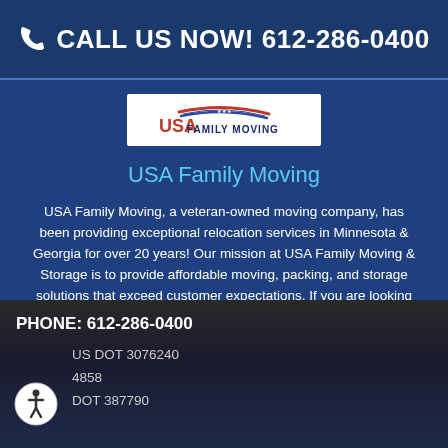CALL US NOW! 612-286-0400
[Figure (logo): USA Family Moving logo — red, white and blue swoosh above text 'USA FAMILY MOVING']
USA Family Moving
USA Family Moving, a veteran-owned moving company, has been providing exceptional relocation services in Minnesota & Georgia for over 20 years! Our mission at USA Family Moving & Storage is to provide affordable moving, packing, and storage solutions that exceed customer expectations. If you are looking for a quality moving and storage company with competitive rates, contact our national movers.
PHONE: 612-286-0400
US DOT 3076240
4858
DOT 387790